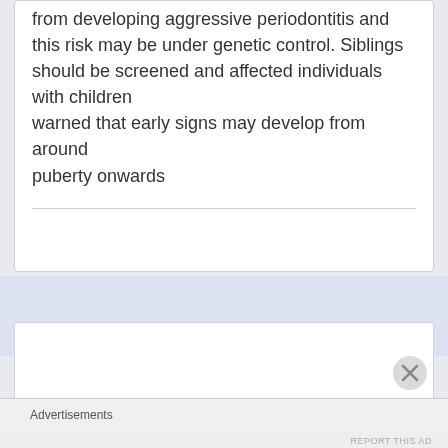from developing aggressive periodontitis and this risk may be under genetic control. Siblings should be screened and affected individuals with children warned that early signs may develop from around puberty onwards
Advertisements
REPORT THIS AD